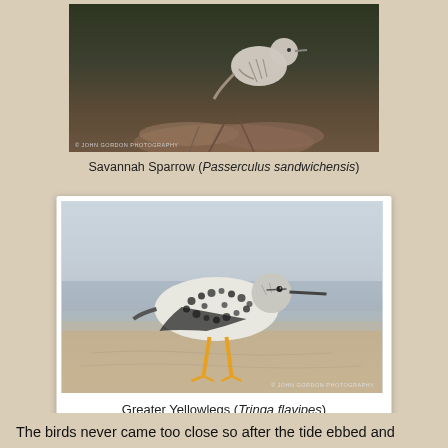[Figure (photo): Savannah Sparrow perched on dried plant stems against a dark background. Photo credit: John Gordon Photography.]
Savannah Sparrow (Passerculus sandwichensis)
[Figure (photo): Greater Yellowlegs shorebird standing on wet sandy beach with bright orange-yellow legs. Photo credit: John Gordon Photography.]
Greater Yellowlegs (Tringa flavipes)
The birds never came too close so after the tide ebbed and